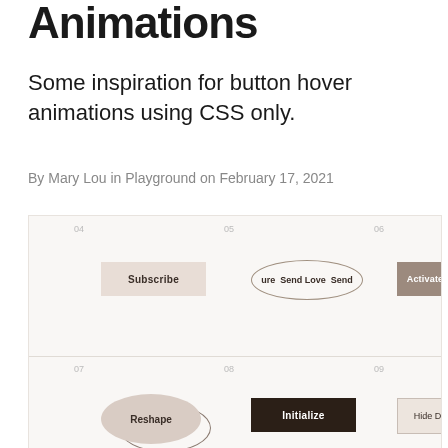Animations
Some inspiration for button hover animations using CSS only.
By Mary Lou in Playground on February 17, 2021
[Figure (screenshot): A grid of CSS button hover animation demos showing 9 buttons in a 3x3 grid labeled 04-12. Buttons include: Subscribe (beige rectangle), Send Love (oval/ellipse shape), Activate Card (brown rectangle), Reshape (circle with outline), Initialize (dark rectangle), Hide Details (outlined rectangle), Verify (beige rectangle), Export File (beige rectangle), Add (dark circle).]